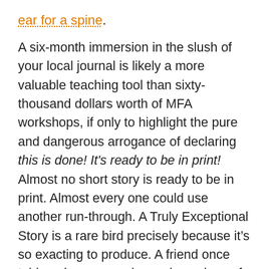ear for a spine.
A six-month immersion in the slush of your local journal is likely a more valuable teaching tool than sixty-thousand dollars worth of MFA workshops, if only to highlight the pure and dangerous arrogance of declaring this is done! It's ready to be in print! Almost no short story is ready to be in print. Almost every one could use another run-through. A Truly Exceptional Story is a rare bird precisely because it’s so exacting to produce. A friend once told me he assumed any given piece of his would go through at least forty drafts. Another, after I asked him how long he’d worked on a story I particularly liked, frowned and said “oh, I dunno. I guess since 1977?”
In the end, every art form has at one time or another had its death declared. Yet almost all of them persist, and even thrive, in leaner, more intentional states. I love short